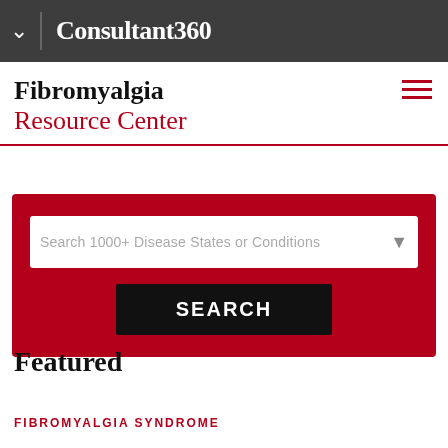Consultant360
Fibromyalgia Resource Center
[Figure (screenshot): Search widget with red background containing a dropdown input labeled 'Search 1000+ Disease States or Conditions' and a black SEARCH button]
Featured
FIBROMYALGIA SYNDROME